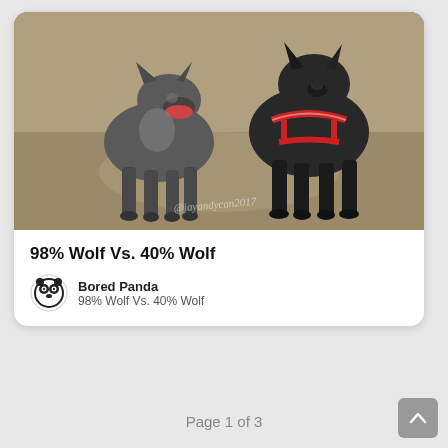[Figure (photo): Two dogs standing on a dirt path outdoors. The left dog is gray/dark colored and appears to be snarling or howling. The right dog is all black and wearing a red harness. A watermark reads @jayandycan2017.]
98% Wolf Vs. 40% Wolf
Bored Panda
98% Wolf Vs. 40% Wolf
Page 1 of 3